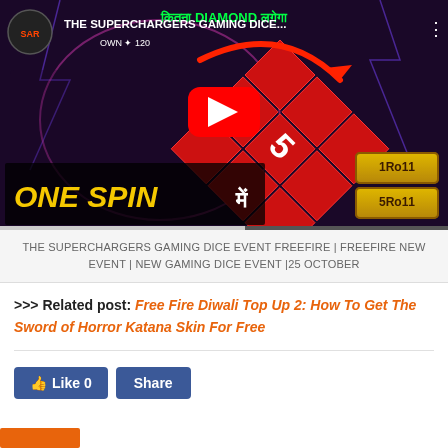[Figure (screenshot): YouTube video thumbnail showing Free Fire gaming dice event with ONE SPIN text, red dice grid, characters, and channel icon for The Superchargers Gaming]
THE SUPERCHARGERS GAMING DICE EVENT FREEFIRE | FREEFIRE NEW EVENT | NEW GAMING DICE EVENT |25 OCTOBER
>>> Related post: Free Fire Diwali Top Up 2: How To Get The Sword of Horror Katana Skin For Free
[Figure (screenshot): Facebook Like 0 and Share buttons in blue]